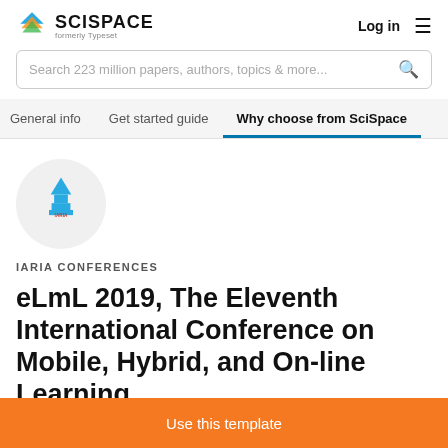SCISPACE formerly Typeset — Log in
Search 223 million papers, authors, topics & more...
General info | Get started guide | Why choose from SciSpace
[Figure (logo): IARIA Conferences logo — blue tower/pyramid icon with red IARIA text]
IARIA CONFERENCES
eLmL 2019, The Eleventh International Conference on Mobile, Hybrid, and On-line Learning
Use this template